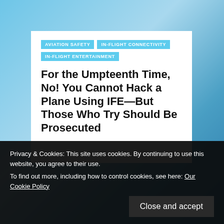[Figure (photo): Sky/clouds background with blue tones visible behind and beside the white article card]
AVIATION SAFETY
IN-FLIGHT CONNECTIVITY
IN-FLIGHT ENTERTAINMENT
For the Umpteenth Time, No! You Cannot Hack a Plane Using IFE—But Those Who Try Should Be Prosecuted
Privacy & Cookies: This site uses cookies. By continuing to use this website, you agree to their use.
To find out more, including how to control cookies, see here: Our Cookie Policy
Close and accept